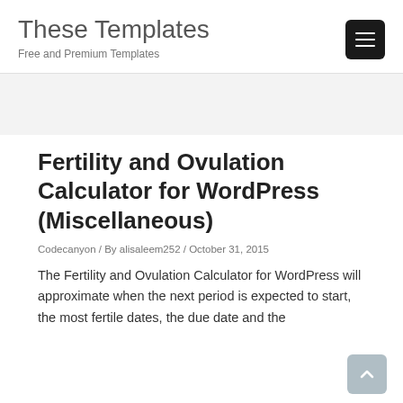These Templates
Free and Premium Templates
Fertility and Ovulation Calculator for WordPress (Miscellaneous)
Codecanyon / By alisaleem252 / October 31, 2015
The Fertility and Ovulation Calculator for WordPress will approximate when the next period is expected to start, the most fertile dates, the due date and the